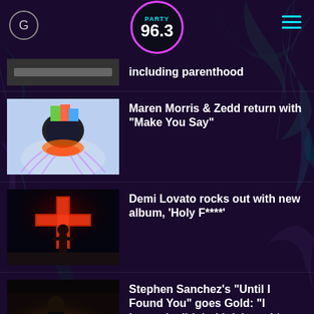Party 96.3
including parenthood
[Figure (other): Album art thumbnail - colorful abstract]
Maren Morris & Zedd return with "Make You Say"
[Figure (photo): Concert photo - performer with cross backdrop]
Demi Lovato rocks out with new album, 'Holy F****'
[Figure (photo): Artist with guitar on stage]
Stephen Sanchez's "Until I Found You" goes Gold: "I honestly didn't think I would get this far"
[Figure (other): Music notes thumbnail with purple MUSIC text]
Music notes: Nick Jonas, Meghan Trainor, Selena